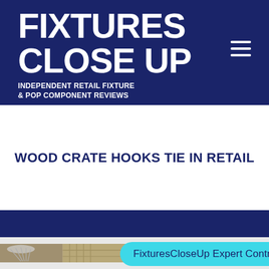FIXTURES CLOSE UP
INDEPENDENT RETAIL FIXTURE & POP COMPONENT REVIEWS
WOOD CRATE HOOKS TIE IN RETAIL
[Figure (photo): Photo of wood crates and metal fixtures/hooks at the bottom of the page]
FixturesCloseUp Expert Controls